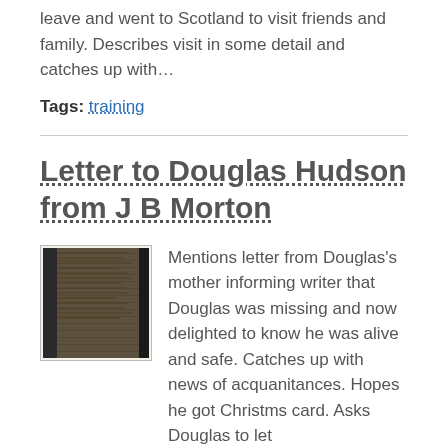leave and went to Scotland to visit friends and family. Describes visit in some detail and catches up with…
Tags: training
Letter to Douglas Hudson from J B Morton
[Figure (photo): Thumbnail image of a handwritten letter on aged paper with dark borders on left and right sides]
Mentions letter from Douglas's mother informing writer that Douglas was missing and now delighted to know he was alive and safe. Catches up with news of acquanitances. Hopes he got Christms card. Asks Douglas to let them know if there is anything…